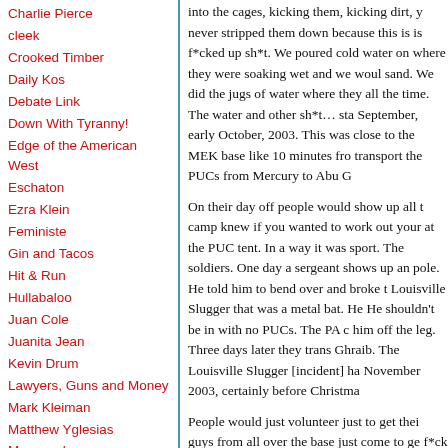Charlie Pierce
cleek
Crooked Timber
Daily Kos
Debate Link
Down With Tyranny!
Edge of the American West
Eschaton
Ezra Klein
Feministe
Gin and Tacos
Hit & Run
Hullabaloo
Juan Cole
Juanita Jean
Kevin Drum
Lawyers, Guns and Money
Mark Kleiman
Matthew Yglesias
Maxspeak
Mercury Rising
Michael Cain's Random
into the cages, kicking them, kicking dirt, y never stripped them down because this is is f*cked up sh*t. We poured cold water on where they were soaking wet and we woul sand. We did the jugs of water where they all the time. The water and other sh*t… sta September, early October, 2003. This was close to the MEK base like 10 minutes fro transport the PUCs from Mercury to Abu G
On their day off people would show up all t camp knew if you wanted to work out your at the PUC tent. In a way it was sport. The soldiers. One day a sergeant shows up an pole. He told him to bend over and broke t Louisville Slugger that was a metal bat. He He shouldn't be in with no PUCs. The PA c him off the leg. Three days later they trans Ghraib. The Louisville Slugger [incident] ha November 2003, certainly before Christma
People would just volunteer just to get thei guys from all over the base just come to ge f*ck them up. Broken bones didn't happen